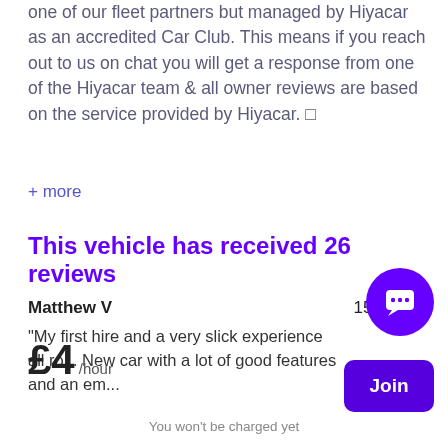The cars you see listed on this account are owned by one of our fleet partners but managed by Hiyacar as an accredited Car Club. This means if you reach out to us on chat you will get a response from one of the Hiyacar team & all owner reviews are based on the service provided by Hiyacar. □
+ more
This vehicle has received 26 reviews
Matthew V   15 Aug 22
"My first hire and a very slick experience all ro... New car with a lot of good features and an em...
£4 /hour
You won't be charged yet